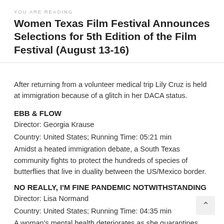YOU ARE READING
Women Texas Film Festival Announces Selections for 5th Edition of the Film Festival (August 13-16)
After returning from a volunteer medical trip Lily Cruz is held at immigration because of a glitch in her DACA status.
EBB & FLOW
Director: Georgia Krause
Country: United States; Running Time: 05:21 min
Amidst a heated immigration debate, a South Texas community fights to protect the hundreds of species of butterflies that live in duality between the US/Mexico border.
NO REALLY, I'M FINE PANDEMIC NOTWITHSTANDING
Director: Lisa Normand
Country: United States; Running Time: 04:35 min
A woman's mental health deteriorates as she quarantines